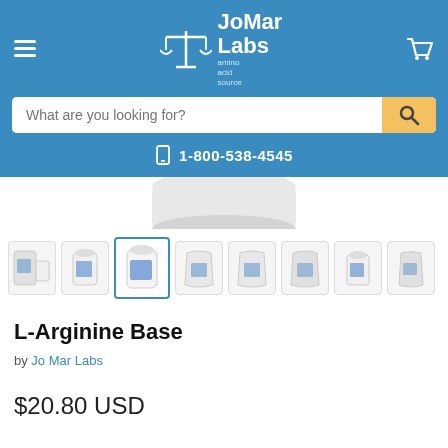[Figure (logo): JoMar Labs logo with balance scale icon and text 'JoMar Labs amino acid source' on blue header background]
[Figure (screenshot): Search bar with placeholder 'What are you looking for?' and orange search button, plus phone number 1-800-538-4545]
[Figure (photo): Product image thumbnails of L-Arginine Base in various container sizes (pouches and bottles), third thumbnail selected/active with blue border]
L-Arginine Base
by Jo Mar Labs
$20.80 USD